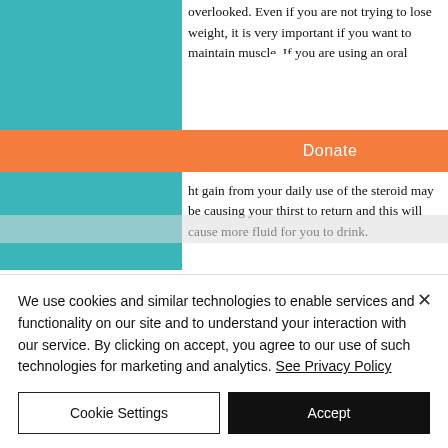overlooked. Even if you are not trying to lose weight, it is very important if you want to maintain muscle. If you are using an oral … more …ht gain from your daily use of the steroid may be causing your thirst to return and this will cause more fluid for you to drink.
[Figure (other): Orange 'Donate' button bar overlaid on the page]
Although there is no conclusive evidence that shows any specific amount of water you must drink daily to maintain muscle loss, it is helpful to drink at least 300 g daily at least
We use cookies and similar technologies to enable services and functionality on our site and to understand your interaction with our service. By clicking on accept, you agree to our use of such technologies for marketing and analytics. See Privacy Policy